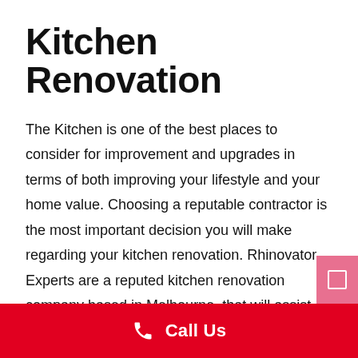Kitchen Renovation
The Kitchen is one of the best places to consider for improvement and upgrades in terms of both improving your lifestyle and your home value. Choosing a reputable contractor is the most important decision you will make regarding your kitchen renovation. Rhinovator Experts are a reputed kitchen renovation company based in Melbourne, that will assist you in making your kitchen more modern and refined. We offer complete kitchen renovations to transform your kitchen into an area that you can be
Call Us